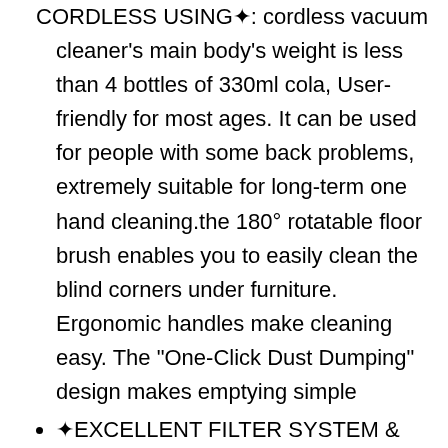CORDLESS USING✦: cordless vacuum cleaner's main body's weight is less than 4 bottles of 330ml cola, User-friendly for most ages. It can be used for people with some back problems, extremely suitable for long-term one hand cleaning.the 180° rotatable floor brush enables you to easily clean the blind corners under furniture. Ergonomic handles make cleaning easy. The "One-Click Dust Dumping" design makes emptying simple
✦EXCELLENT FILTER SYSTEM & LED MOTORIZED FLOOR HEAD✦:PRETTYCARE stick vacuum wood floor filter system uses a stainless steel filter, filter holes precision and small. Service life is twice longer as a traditional filtration system. Hardwood floor vacuum provides the ultimate purified air and